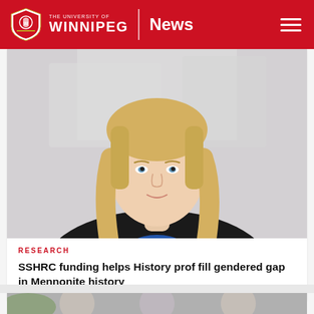THE UNIVERSITY OF WINNIPEG | News
[Figure (photo): Professional headshot of a blonde woman in a black blazer and blue shirt, smiling, photographed against a bright window background.]
RESEARCH
SSHRC funding helps History prof fill gendered gap in Mennonite history
[Figure (photo): Partial view of group photo showing multiple people, cropped at bottom of page.]